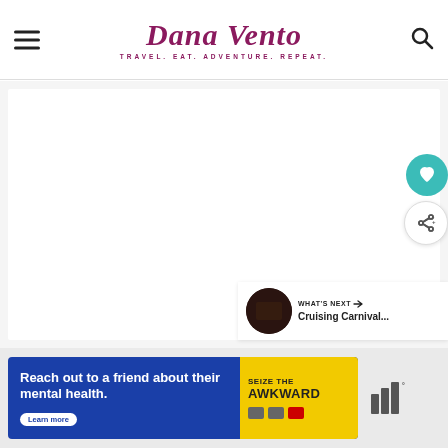Dana Vento — TRAVEL. EAT. ADVENTURE. REPEAT.
[Figure (screenshot): Large white/grey blank content area of a travel blog page]
[Figure (infographic): Heart/like button (teal circle with white heart icon)]
[Figure (infographic): Share button (white circle with share icon)]
WHAT'S NEXT → Cruising Carnival...
[Figure (photo): Thumbnail image for next article (dark toned book/card cover)]
[Figure (screenshot): Advertisement banner: 'Reach out to a friend about their mental health. Learn more' — Seize The Awkward campaign with blue background and yellow SEIZE THE AWKWARD panel]